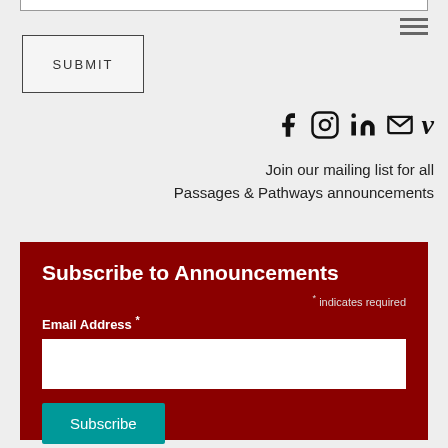SUBMIT
[Figure (infographic): Social media icons: Facebook, Instagram, LinkedIn, Email, Vimeo]
Join our mailing list for all Passages & Pathways announcements
Subscribe to Announcements
* indicates required
Email Address *
Subscribe